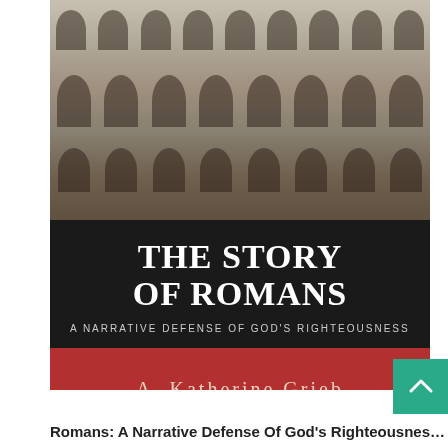[Figure (photo): Book cover of 'The Story of Romans: A Narrative Defense of God's Righteousness' by A. Katherine Grieb. The cover shows a black-and-white photograph of the Roman Colosseum at the top, followed by a black band with the large white title text, a subtitle in small caps, and a red band at the bottom with the author's name in spaced serif type.]
Romans: A Narrative Defense Of God's Righteousness